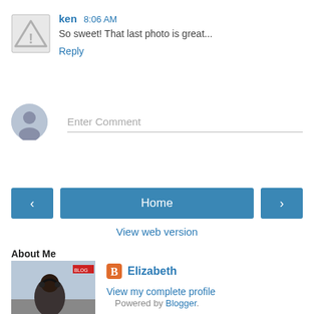[Figure (illustration): Warning triangle icon used as avatar placeholder for commenter ken]
ken 8:06 AM
So sweet! That last photo is great...
Reply
[Figure (illustration): Generic user silhouette avatar icon for comment input]
Enter Comment
[Figure (illustration): Left arrow navigation button]
Home
[Figure (illustration): Right arrow navigation button]
View web version
About Me
[Figure (photo): Profile photo of Elizabeth, a woman with headphones outdoors]
[Figure (logo): Blogger B logo icon in orange square]
Elizabeth
View my complete profile
Powered by Blogger.